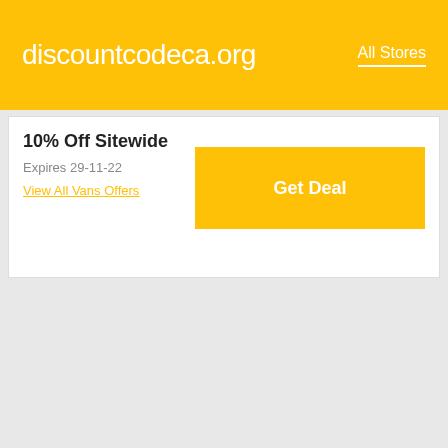discountcodeca.org | All Stores
10% Off Sitewide
Expires 29-11-22
View All Vans Offers
Enjoy Up To 60% Off Women's Items
Expires 29-11-22
View All 6Pm Offers